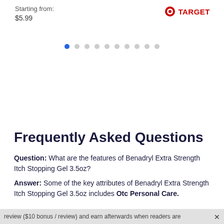Starting from:
$5.99
[Figure (logo): Target bullseye logo with 'TARGET' text in red]
[Figure (other): Pagination dots: 10 dots, first one blue/active, rest grey]
Frequently Asked Questions
Question: What are the features of Benadryl Extra Strength Itch Stopping Gel 3.5oz?
Answer: Some of the key attributes of Benadryl Extra Strength Itch Stopping Gel 3.5oz includes Otc Personal Care.
review ($10 bonus / review) and earn afterwards when readers are